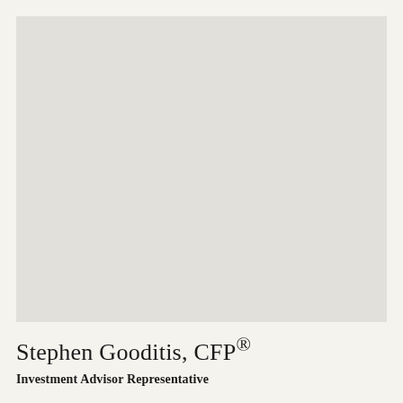[Figure (photo): Portrait photo placeholder — light gray rectangle representing a headshot of Stephen Gooditis]
Stephen Gooditis, CFP®
Investment Advisor Representative